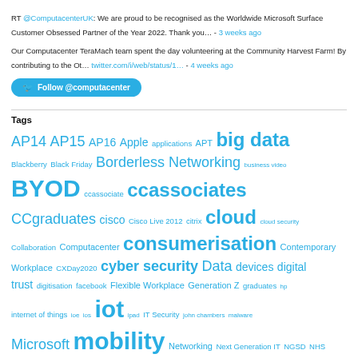RT @ComputacenterUK: We are proud to be recognised as the Worldwide Microsoft Surface Customer Obsessed Partner of the Year 2022. Thank you… - 3 weeks ago
Our Computacenter TeraMach team spent the day volunteering at the Community Harvest Farm! By contributing to the Ot… twitter.com/i/web/status/1… - 4 weeks ago
Follow @computacenter
Tags
AP14 AP15 AP16 Apple applications APT big data Blackberry Black Friday Borderless Networking business video BYOD ccassociate ccassociates CCgraduates cisco Cisco Live 2012 citrix cloud cloud security Collaboration Computacenter consumerisation Contemporary Workplace CXDay2020 cyber security Data devices digital trust digitisation facebook Flexible Workplace Generation Z graduates hp internet of things ioe ios iot ipad IT Security john chambers malware Microsoft mobility Networking Next Generation IT NGSD NHS PP17 remote working san diego sddc sdn security service desk Software Software Defined software defined networking Storage Technology uk Ultrabook Unified Communications ...